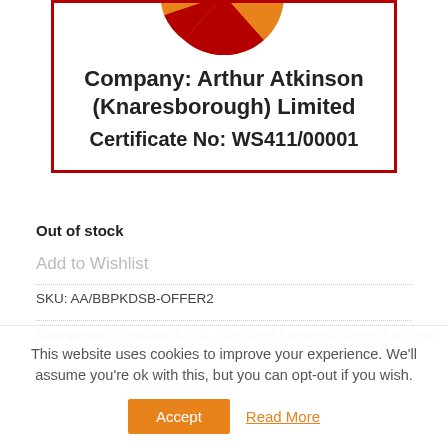[Figure (logo): Circular logo with dark red and orange segments at top of certificate box]
Company: Arthur Atkinson (Knaresborough) Limited
Certificate No: WS411/00001
Out of stock
Add to Wishlist
SKU: AA/BBPKDSB-OFFER2
Categories: Firewood & Eco, Kiln Dried Firewood Offers, Kiln Dried Silver
This website uses cookies to improve your experience. We'll assume you're ok with this, but you can opt-out if you wish.
Accept
Read More